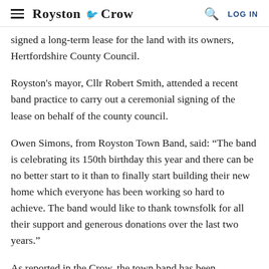Royston Crow — LOG IN
signed a long-term lease for the land with its owners, Hertfordshire County Council.
Royston's mayor, Cllr Robert Smith, attended a recent band practice to carry out a ceremonial signing of the lease on behalf of the county council.
Owen Simons, from Royston Town Band, said: “The band is celebrating its 150th birthday this year and there can be no better start to it than to finally start building their new home which everyone has been working so hard to achieve. The band would like to thank townsfolk for all their support and generous donations over the last two years.”
As reported in the Crow, the town band has been searching for a new home since being evicted from the